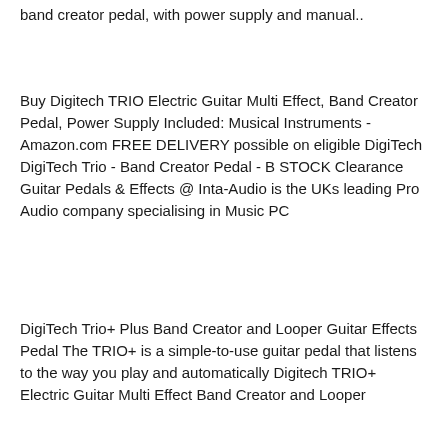band creator pedal, with power supply and manual..
Buy Digitech TRIO Electric Guitar Multi Effect, Band Creator Pedal, Power Supply Included: Musical Instruments - Amazon.com FREE DELIVERY possible on eligible DigiTech DigiTech Trio - Band Creator Pedal - B STOCK Clearance Guitar Pedals & Effects @ Inta-Audio is the UKs leading Pro Audio company specialising in Music PC
DigiTech Trio+ Plus Band Creator and Looper Guitar Effects Pedal The TRIO+ is a simple-to-use guitar pedal that listens to the way you play and automatically Digitech TRIO+ Electric Guitar Multi Effect Band Creator and Looper